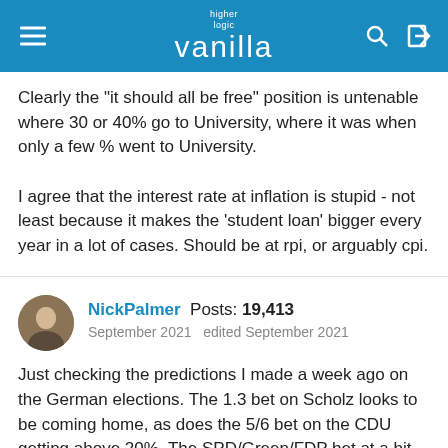higher logic vanilla
Clearly the "it should all be free" position is untenable where 30 or 40% go to University, where it was when only a few % went to University.

I agree that the interest rate at inflation is stupid - not least because it makes the 'student loan' bigger every year in a lot of cases. Should be at rpi, or arguably cpi.
NickPalmer  Posts: 19,413
September 2021  edited September 2021
Just checking the predictions I made a week ago on the German elections. The 1.3 bet on Scholz looks to be coming home, as does the 5/6 bet on the CDU getting above 20%. The SPD/Green/FDP bet at a bit more than evens looks likely, though the saver on